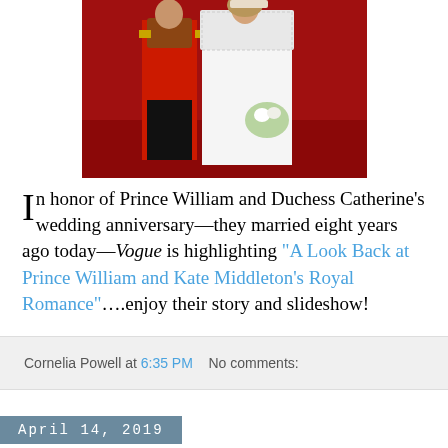[Figure (photo): Royal wedding photo of Prince William in red military uniform and Duchess Catherine in white wedding dress with bouquet, standing together against a red background]
In honor of Prince William and Duchess Catherine's wedding anniversary—they married eight years ago today—Vogue is highlighting "A Look Back at Prince William and Kate Middleton's Royal Romance"….enjoy their story and slideshow!
Cornelia Powell at 6:35 PM   No comments:
April 14, 2019